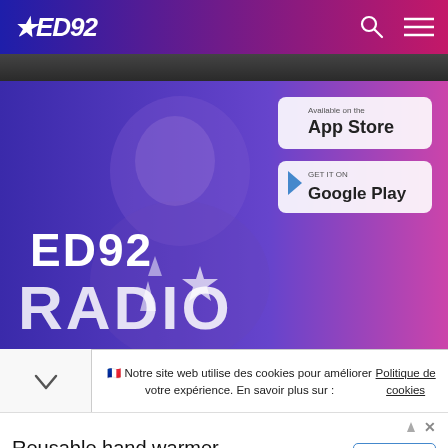ED92
[Figure (screenshot): ED92 Radio website screenshot showing the radio app promotional banner with App Store and Google Play download badges over a blue/purple gradient background with a woman wearing headphones and ED92 RADIO text]
🇫🇷 Notre site web utilise des cookies pour améliorer votre expérience. En savoir plus sur : Politique de cookies
[Figure (infographic): Advertisement banner for Reusable hand warmer by ocoopa.com with Learn More button]
Reusable hand warmer
The market's first hand warmer with IP45 waterproof & dustproof , drop-resistant functions ocoopa.com